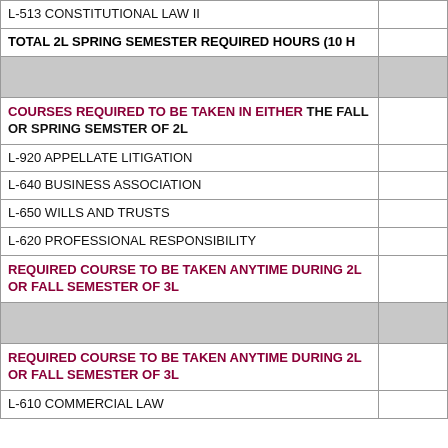| Course | Hours |
| --- | --- |
| L-513 CONSTITUTIONAL LAW II |  |
| TOTAL 2L SPRING SEMESTER REQUIRED HOURS (10 H... |  |
| (gray row) |  |
| COURSES REQUIRED TO BE TAKEN IN EITHER THE FALL OR SPRING SEMSTER OF 2L |  |
| L-920 APPELLATE LITIGATION |  |
| L-640 BUSINESS ASSOCIATION |  |
| L-650 WILLS AND TRUSTS |  |
| L-620 PROFESSIONAL RESPONSIBILITY |  |
| REQUIRED COURSE TO BE TAKEN ANYTIME DURING 2L OR FALL SEMESTER OF 3L |  |
| (gray row) |  |
| REQUIRED COURSE TO BE TAKEN ANYTIME DURING 2L ORFALL SEMESTER OF 3L |  |
| L-610 COMMERCIAL LAW |  |